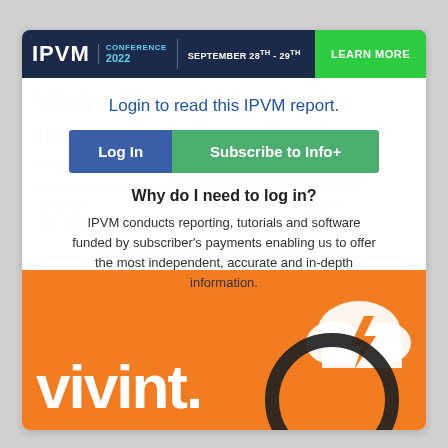IPVM CONFERENCE 2022 | SEPTEMBER 28TH - 29TH | LEARN MORE
Login to read this IPVM report.
Log In | Subscribe to Info+
Why do I need to log in?
IPVM conducts reporting, tutorials and software funded by subscriber's payments enabling us to offer the most independent, accurate and in-depth information.
Vivint 'Smart' Home Insurance - Examined
By IPVM Team. Published ... (Info+)
While Vivint is best known for its online security and solar division, the company has begun to expand into home insurance space.
[Figure (logo): Vivint logo in white on orange background with cloud and lightning bolt magnifier graphic]